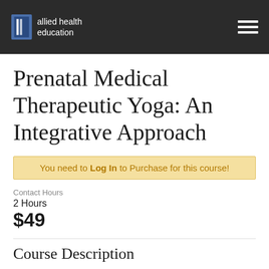allied health education
Prenatal Medical Therapeutic Yoga: An Integrative Approach
You need to Log In to Purchase for this course!
Contact Hours
2 Hours
$49
Course Description